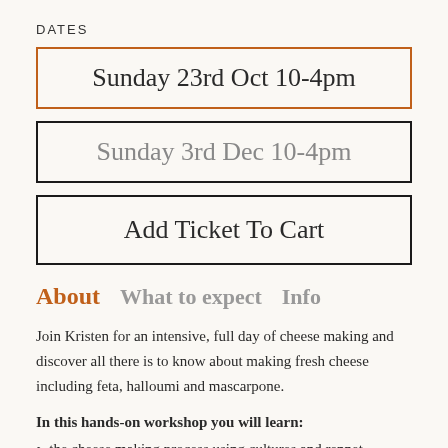DATES
Sunday 23rd Oct 10-4pm
Sunday 3rd Dec 10-4pm
Add Ticket To Cart
About   What to expect   Info
Join Kristen for an intensive, full day of cheese making and discover all there is to know about making fresh cheese including feta, halloumi and mascarpone.
In this hands-on workshop you will learn:
the cheese making process using cultures and rennet